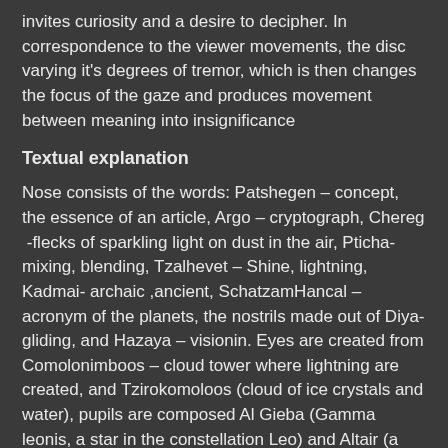invites curiosity and a desire to decipher. In correspondence to the viewer movements, the disc varying it's degrees of tremor, which is then changes the focus of the gaze and produces movement between meaning into insignificance
Textual explanation
Nose consists of the words: Patshegen – concept, the essence of an article, Argo – cryptograph, Chereg -flecks of sparkling light on dust in the air, Pticha- mixing, blending, Tzalhevet – Shine, lightning, Kadmai- archaic ,ancient, SchatzamHancal – acronym of the planets, the nostrils made out of Diya- gliding, and Hazaya – visionin. Eyes are created from Comolonimboos – cloud tower where lightning are created, and Tzirokomoloos (cloud of ice crystals and water), pupils are composed Al Gieba (Gamma leonis, a star in the constellation Leo) and Altair (a star in the constellation Aquila). The teeth are Eretz(might /sky poetic nickname) and Tzelef (whipping / hallucination). The ears are composed of sentences: left ear – Semaphore Stichi Betzalmon – Semaphore – traffic sign, Stichi – spontaneous processes – carried out by the forces of nature, Tzalmon – darkness, hell. Right ear – Klamboor  Carbidi  Bealaol, Klamboor – a play on words, carbide – compounds of metals and carbon, Aleol –